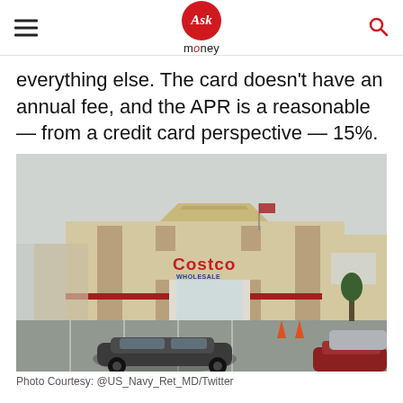Ask money
everything else. The card doesn't have an annual fee, and the APR is a reasonable — from a credit card perspective — 15%.
[Figure (photo): Exterior photograph of a Costco Wholesale warehouse store with cars in the parking lot. The large beige building has the Costco Wholesale logo in red and blue letters above the entrance. Several cars are visible in the foreground parking lot under an overcast sky.]
Photo Courtesy: @US_Navy_Ret_MD/Twitter